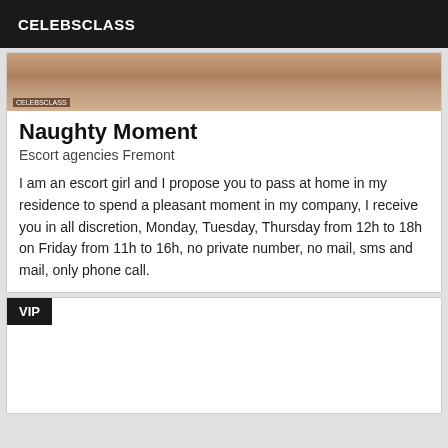CELEBSCLASS
[Figure (photo): Partial view of a person lying down, warm skin tones with blue fabric visible]
Naughty Moment
Escort agencies Fremont
I am an escort girl and I propose you to pass at home in my residence to spend a pleasant moment in my company, I receive you in all discretion, Monday, Tuesday, Thursday from 12h to 18h on Friday from 11h to 16h, no private number, no mail, sms and mail, only phone call.
VIP